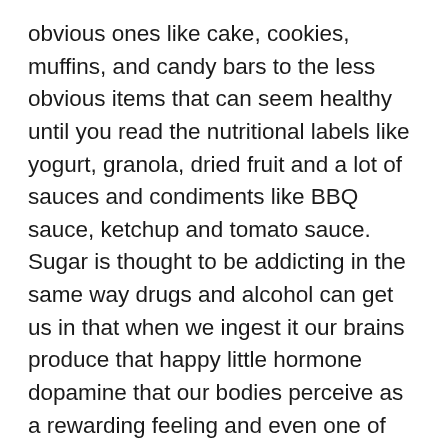obvious ones like cake, cookies, muffins, and candy bars to the less obvious items that can seem healthy until you read the nutritional labels like yogurt, granola, dried fruit and a lot of sauces and condiments like BBQ sauce, ketchup and tomato sauce. Sugar is thought to be addicting in the same way drugs and alcohol can get us in that when we ingest it our brains produce that happy little hormone dopamine that our bodies perceive as a rewarding feeling and even one of arousal. No wonder we crave it, huh? Maybe like me, however, you find yourself craving it a little more than normal lately. Maybe you are at home a lot more these days, also like me, and are therefore snacking on sweets more than you previously had. Maybe you just have always had a sweet tooth and think it might be time to get it in check. No matter that the reason, taking a look at how much sugar you are ingesting every day and being aware of what it could be doing to you could be the beginning